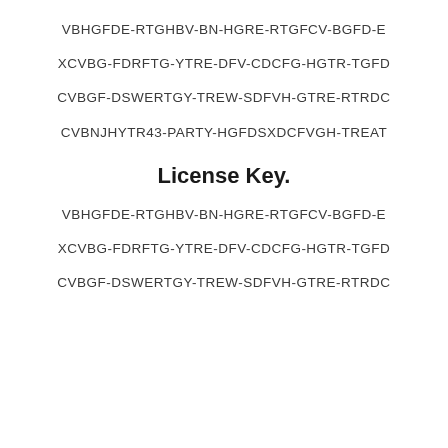VBHGFDE-RTGHBV-BN-HGRE-RTGFCV-BGFD-E
XCVBG-FDRFTG-YTRE-DFV-CDCFG-HGTR-TGFD
CVBGF-DSWERTGY-TREW-SDFVH-GTRE-RTRDC
CVBNJHYTR43-PARTY-HGFDSXDCFVGH-TREAT
License Key.
VBHGFDE-RTGHBV-BN-HGRE-RTGFCV-BGFD-E
XCVBG-FDRFTG-YTRE-DFV-CDCFG-HGTR-TGFD
CVBGF-DSWERTGY-TREW-SDFVH-GTRE-RTRDC